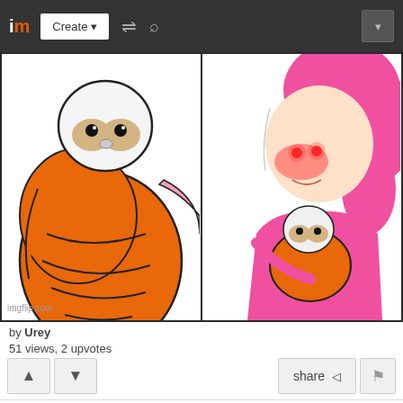im Create ▼
[Figure (illustration): Two-panel comic strip showing cartoon sloths. Left panel: orange-wrapped sloth being held. Right panel: pink-haired character with glowing red cheeks holding an orange-wrapped baby sloth. Watermark: imgflip.com]
by Urey
51 views, 2 upvotes
share
lol
[Figure (illustration): Two-panel comic strip bottom. Left panel: large bold text 'F-F-F-...' with baby sloth below. Right panel: text 'Aww, his first words!' with pink character.]